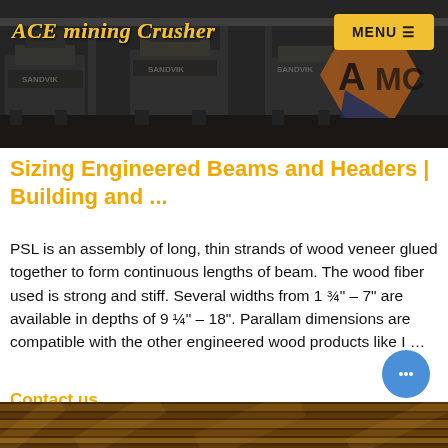ACE mining Crusher
[Figure (screenshot): Website header banner showing mining crusher machinery with dark overlay. AMC logo visible on right side. Yellow MENU button in top right corner.]
Sizing Engineered Beams and Headers | Building and ...
PSL is an assembly of long, thin strands of wood veneer glued together to form continuous lengths of beam. The wood fiber used is strong and stiff. Several widths from 1 ¾" – 7" are available in depths of 9 ¼" – 18". Parallam dimensions are compatible with the other engineered wood products like I ...
Contact us
[Figure (photo): Bottom strip showing blurred image of timber/lumber materials in warm brown tones.]